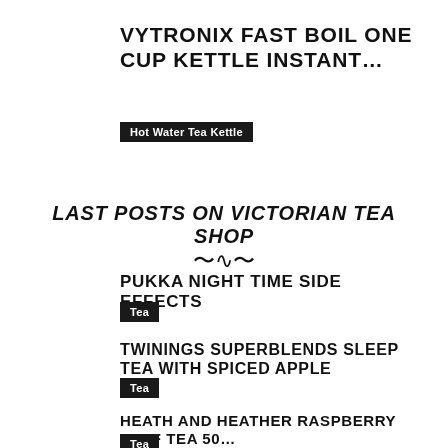VYTRONIX FAST BOIL ONE CUP KETTLE INSTANT…
Hot Water Tea Kettle
LAST POSTS ON VICTORIAN TEA SHOP
PUKKA NIGHT TIME SIDE EFFECTS
Tea
TWININGS SUPERBLENDS SLEEP TEA WITH SPICED APPLE
Tea
HEATH AND HEATHER RASPBERRY LEAF TEA 50…
Tea